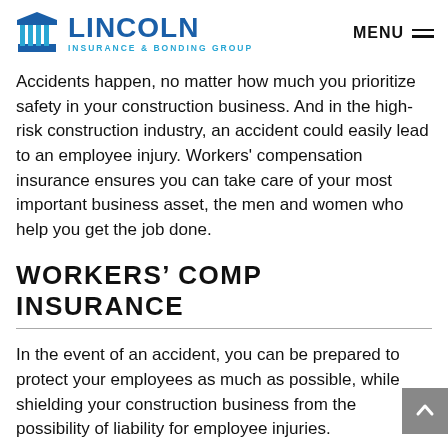LINCOLN INSURANCE & BONDING GROUP | MENU
Accidents happen, no matter how much you prioritize safety in your construction business. And in the high-risk construction industry, an accident could easily lead to an employee injury. Workers' compensation insurance ensures you can take care of your most important business asset, the men and women who help you get the job done.
WORKERS' COMP INSURANCE
In the event of an accident, you can be prepared to protect your employees as much as possible, while shielding your construction business from the possibility of liability for employee injuries.